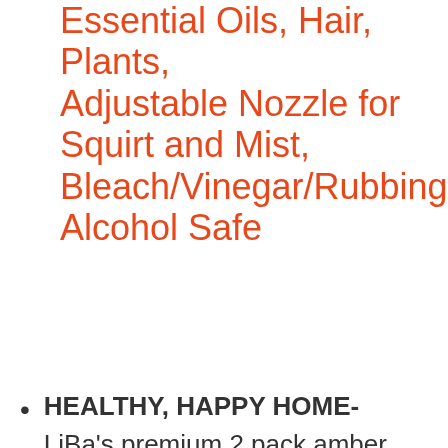Essential Oils, Hair, Plants, Adjustable Nozzle for Squirt and Mist, Bleach/Vinegar/Rubbing Alcohol Safe
HEALTHY, HAPPY HOME- LiBa's premium 2 pack amber glass spray bottles offer UV protection and are equipped with an adjustable spay nozzle, making them the perfect solution to all of your DIY needs. Ingredients like bleach, baking soda, vinegar, and sensitive essential oils will remain at top...